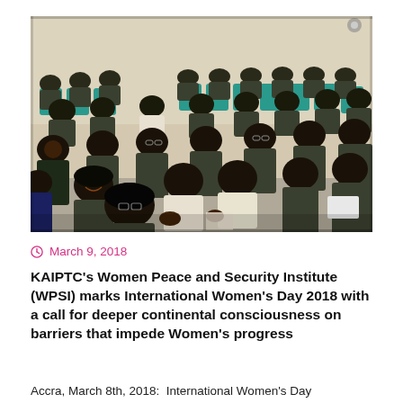[Figure (photo): A group of women in military uniforms seated in a conference hall with teal/turquoise chairs, clapping and smiling. Some are in civilian clothing. The room has beige walls and overhead lighting.]
March 9, 2018
KAIPTC's Women Peace and Security Institute (WPSI) marks International Women's Day 2018 with a call for deeper continental consciousness on barriers that impede Women's progress
Accra, March 8th, 2018: International Women's Day